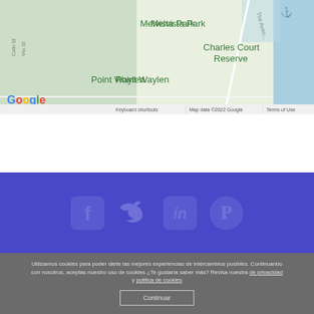[Figure (map): Google Maps screenshot showing Melvista Park, Point Waylen, Charles Court Reserve, with street labels Colin St, Vrix St, The Avenue, Google logo and map attribution bar]
[Figure (infographic): Blue banner with social media icons: Facebook, Twitter, LinkedIn, Pinterest]
Utilizamos cookies para poder darte las mejores experiencias de intercambios posibles. Continuando con nosotros, aceptas nuestro uso de cookies ¿Te gustaría saber más? Revisa nuestra de privacidad y politica de cookies
Continuar